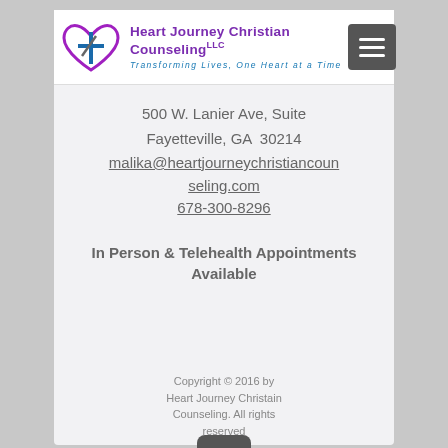[Figure (logo): Heart Journey Christian Counseling LLC logo with heart and cross icon, purple text title, blue italic subtitle 'Transforming Lives, One Heart at a Time']
500 W. Lanier Ave, Suite
Fayetteville, GA  30214
malika@heartjourneychristiancounseling.com
678-300-8296
In Person & Telehealth Appointments Available
Copyright © 2016 by Heart Journey Christain Counseling. All rights reserved